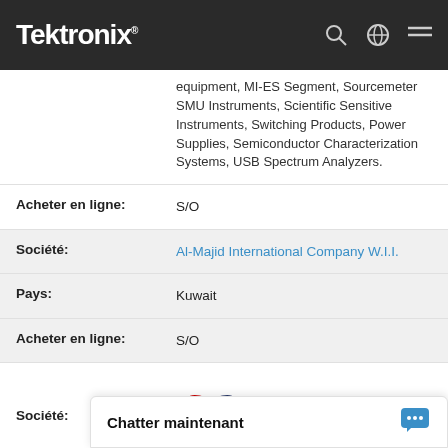Tektronix
equipment, MI-ES Segment, Sourcemeter SMU Instruments, Scientific Sensitive Instruments, Switching Products, Power Supplies, Semiconductor Characterization Systems, USB Spectrum Analyzers.
Acheter en ligne: S/O
Société: Al-Majid International Company W.I.I.
Pays: Kuwait
Acheter en ligne: S/O
Société:
[Figure (logo): Alfa Instruments logo with Russian text 'измерительное оборудование']
Pays: Kazakhstan, Russian Federation, Uzbekistan
Produits: A... V...
Chatter maintenant